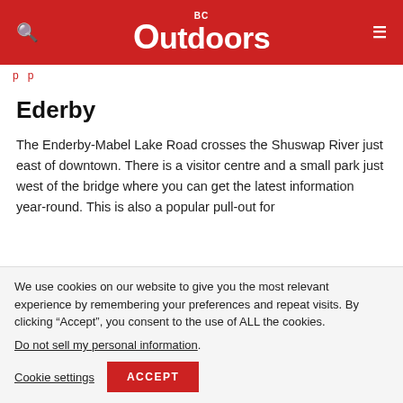BC Outdoors
p p
Ederby
The Enderby-Mabel Lake Road crosses the Shuswap River just east of downtown. There is a visitor centre and a small park just west of the bridge where you can get the latest information year-round. This is also a popular pull-out for
We use cookies on our website to give you the most relevant experience by remembering your preferences and repeat visits. By clicking “Accept”, you consent to the use of ALL the cookies.
Do not sell my personal information.
Cookie settings   ACCEPT